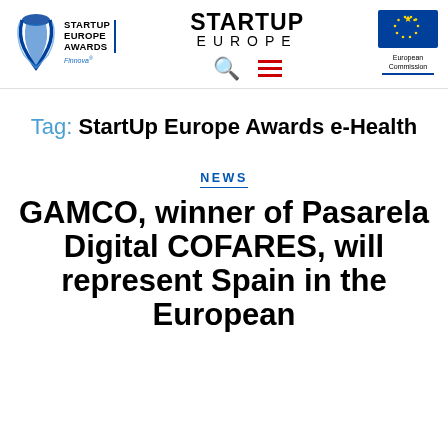[Figure (logo): StartUp Europe Awards logo with stylized blue ribbon/wings icon, text 'STARTUP EUROPE AWARDS' with vertical blue bar, and 'Innova' text below]
[Figure (logo): STARTUP EUROPE text logo in bold black, with search icon and hamburger menu icon in red below]
[Figure (logo): European Commission logo with EU flag circle of stars and 'European Commission' text with blue underline]
Tag: StartUp Europe Awards e-Health
NEWS
GAMCO, winner of Pasarela Digital COFARES, will represent Spain in the European